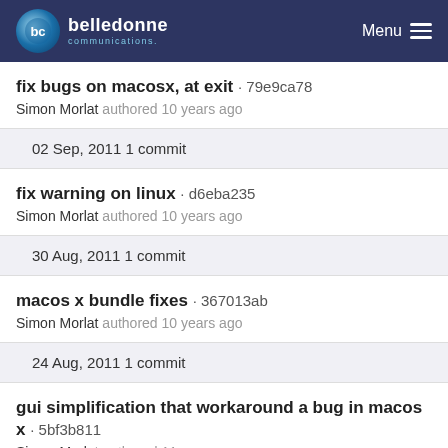belledonne communications — Menu
fix bugs on macosx, at exit · 79e9ca78
Simon Morlat authored 10 years ago
02 Sep, 2011 1 commit
fix warning on linux · d6eba235
Simon Morlat authored 10 years ago
30 Aug, 2011 1 commit
macos x bundle fixes · 367013ab
Simon Morlat authored 10 years ago
24 Aug, 2011 1 commit
gui simplification that workaround a bug in macos x · 5bf3b811
Simon Morlat authored 11 years ago
22 Aug, 2011 1 commit